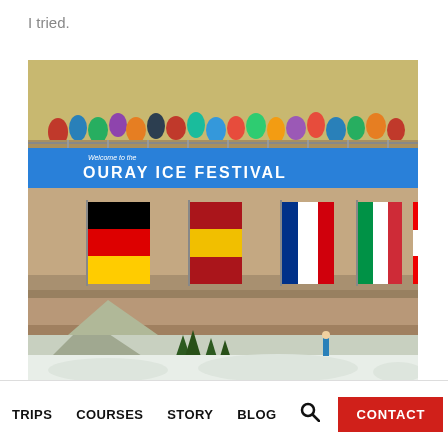I tried.
[Figure (photo): Photo of a bridge decorated with international flags (Germany, Spain, France, Italy, Austria) and a blue banner reading 'Welcome to the OURAY ICE FESTIVAL'. Spectators line the top of the bridge. Snow-covered mountains and pine trees visible below.]
TRIPS   COURSES   STORY   BLOG   [search icon]   CONTACT